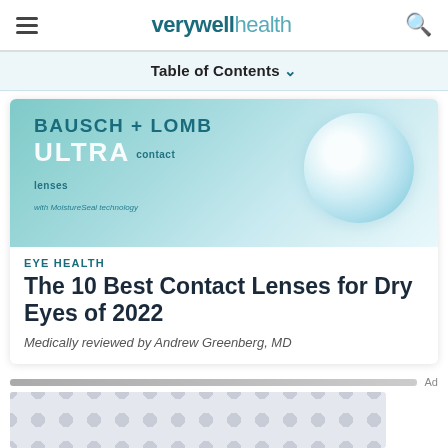verywell health
Table of Contents
[Figure (photo): Bausch + Lomb ULTRA contact lenses product image with a clear contact lens and teal/aqua background]
EYE HEALTH
The 10 Best Contact Lenses for Dry Eyes of 2022
Medically reviewed by Andrew Greenberg, MD
[Figure (other): Advertisement banner with dot/circle pattern placeholder]